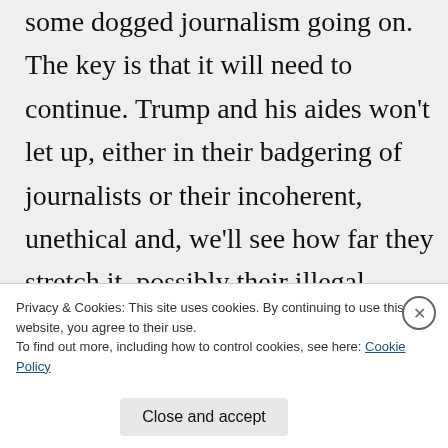some dogged journalism going on. The key is that it will need to continue. Trump and his aides won't let up, either in their badgering of journalists or their incoherent, unethical and, we'll see how far they stretch it, possibly their illegal behavior.

It's been funny to watch and read some of the Trumplets' responses,
Privacy & Cookies: This site uses cookies. By continuing to use this website, you agree to their use.
To find out more, including how to control cookies, see here: Cookie Policy